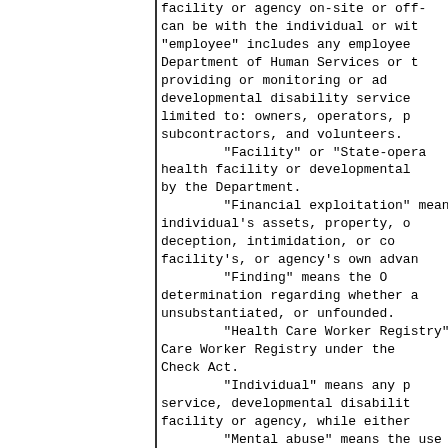facility or agency on-site or off-site; can be with the individual or with others; "employee" includes any employee of the Department of Human Services or the facility providing or monitoring or administering developmental disability services including but limited to: owners, operators, personnel, subcontractors, and volunteers.
        "Facility" or "State-operated" means a health facility or developmental disability facility by the Department.
        "Financial exploitation" means the use of an individual's assets, property, or resources through deception, intimidation, or coercion for the facility's, or agency's own advantage.
        "Finding" means the OIG's official determination regarding whether an allegation is substantiated, unsubstantiated, or unfounded.
        "Health Care Worker Registry" means the Health Care Worker Registry under the Health Care Worker Background Check Act.
        "Individual" means any person receiving service, developmental disability services from a facility or agency, while either in the facility.
        "Mental abuse" means the use of demeaning or threatening words, signs, gestures, or actions by an employee about an individual that causes or could cause the individual or individuals that results in emotional distress, maladaptive behavior, or could cause emotional distress or maladaptive behavior.